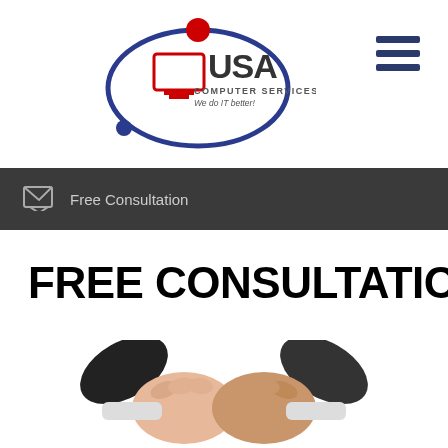USA Computer Services - We do IT better!
Free Consultation
FREE CONSULTATION
[Figure (illustration): Two people in business suits shaking hands, cartoon/vector style illustration]